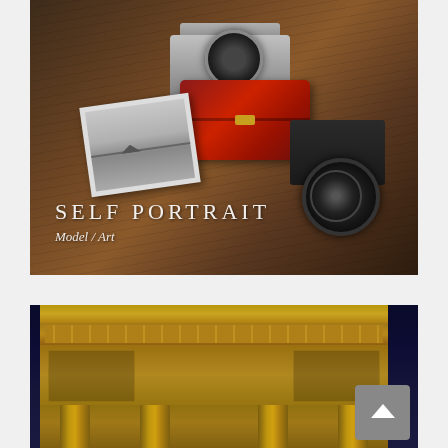[Figure (photo): Top photo: Vintage Canon film camera and black Zenit camera on a rustic wooden surface, alongside a red leather suitcase, a wristwatch, and a black-and-white photograph of a seascape with a boat. Overlaid white text reads 'SELF PORTRAIT' and 'Model / Art' in italic.]
[Figure (photo): Bottom photo: Night-time close-up of the Arc de Triomphe in Paris, illuminated against a dark blue sky. Stone details, friezes, cornices, and columns visible.]